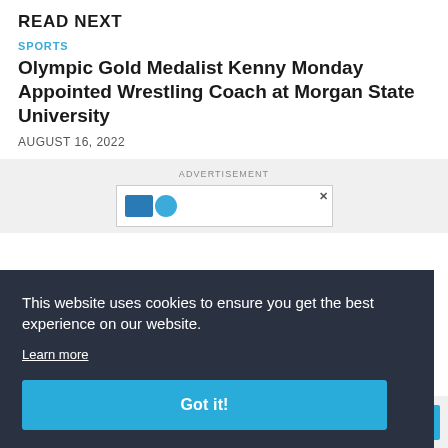READ NEXT
SPORTS
Olympic Gold Medalist Kenny Monday Appointed Wrestling Coach at Morgan State University
AUGUST 16, 2022
ADVERTISEMENT
[Figure (other): Advertisement banner with blue logo shapes and close button]
This website uses cookies to ensure you get the best experience on our website.
Learn more
Got it!
Subscribe today